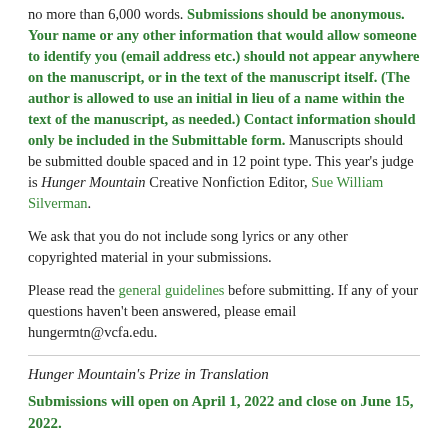no more than 6,000 words. Submissions should be anonymous. Your name or any other information that would allow someone to identify you (email address etc.) should not appear anywhere on the manuscript, or in the text of the manuscript itself. (The author is allowed to use an initial in lieu of a name within the text of the manuscript, as needed.) Contact information should only be included in the Submittable form. Manuscripts should be submitted double spaced and in 12 point type. This year's judge is Hunger Mountain Creative Nonfiction Editor, Sue William Silverman.
We ask that you do not include song lyrics or any other copyrighted material in your submissions.
Please read the general guidelines before submitting. If any of your questions haven't been answered, please email hungermtn@vcfa.edu.
Hunger Mountain's Prize in Translation
Submissions will open on April 1, 2022 and close on June 15, 2022.